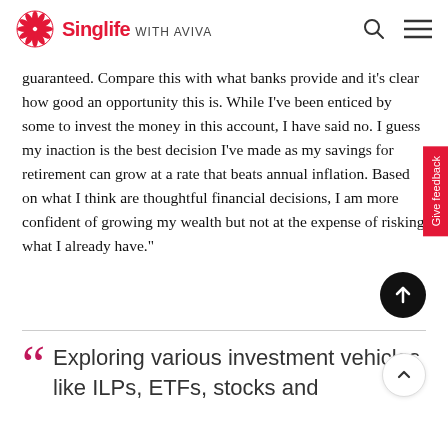Singlife with AVIVA
guaranteed. Compare this with what banks provide and it’s clear how good an opportunity this is. While I’ve been enticed by some to invest the money in this account, I have said no. I guess my inaction is the best decision I’ve made as my savings for retirement can grow at a rate that beats annual inflation. Based on what I think are thoughtful financial decisions, I am more confident of growing my wealth but not at the expense of risking what I already have.”
Exploring various investment vehicles like ILPs, ETFs, stocks and